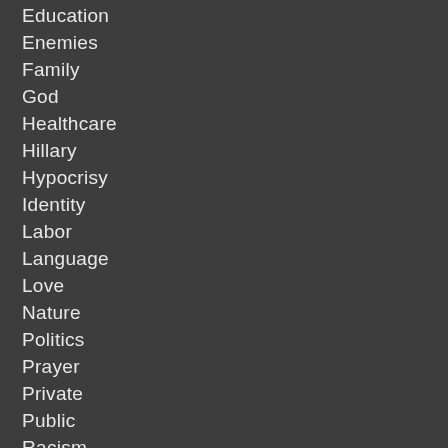Education
Enemies
Family
God
Healthcare
Hillary
Hypocrisy
Identity
Labor
Language
Love
Nature
Politics
Prayer
Private
Public
Racism
Religion
Safety
Sexism
Trump